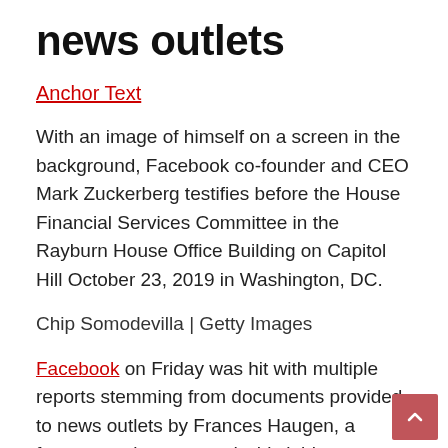news outlets
Anchor Text
With an image of himself on a screen in the background, Facebook co-founder and CEO Mark Zuckerberg testifies before the House Financial Services Committee in the Rayburn House Office Building on Capitol Hill October 23, 2019 in Washington, DC.
Chip Somodevilla | Getty Images
Facebook on Friday was hit with multiple reports stemming from documents provided to news outlets by Frances Haugen, a former employee turned whistleblower.